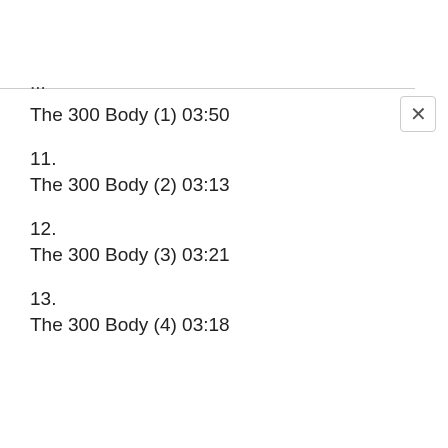...
The 300 Body (1) 03:50
11.
The 300 Body (2) 03:13
12.
The 300 Body (3) 03:21
13.
The 300 Body (4) 03:18